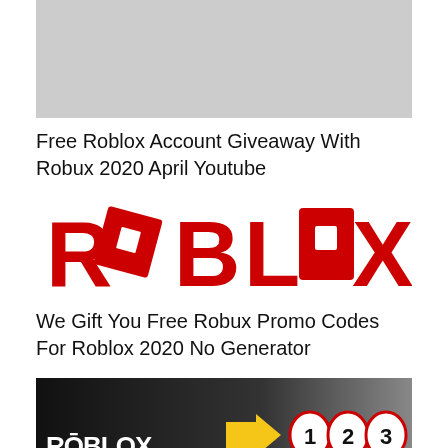[Figure (screenshot): Gray placeholder image at the top (thumbnail area)]
Free Roblox Account Giveaway With Robux 2020 April Youtube
[Figure (logo): Roblox logo in red with tilted letter O]
We Gift You Free Robux Promo Codes For Roblox 2020 No Generator
[Figure (screenshot): Dark thumbnail showing Roblox text, a yellow arrow, and circled numbers 1, 2, 3]